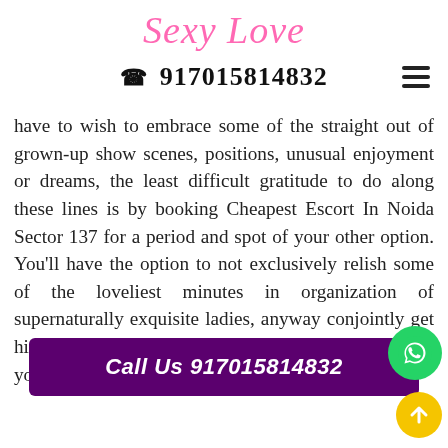Sexy Love
☎ 917015814832
have to wish to embrace some of the straight out of grown-up show scenes, positions, unusual enjoyment or dreams, the least difficult gratitude to do along these lines is by booking Cheapest Escort In Noida Sector 137 for a period and spot of your other option. You'll have the option to not exclusively relish some of the loveliest minutes in organization of supernaturally exquisite ladies, anyway conjointly get high with once happy yourself deeply, all at incredibly
Call Us 917015814832